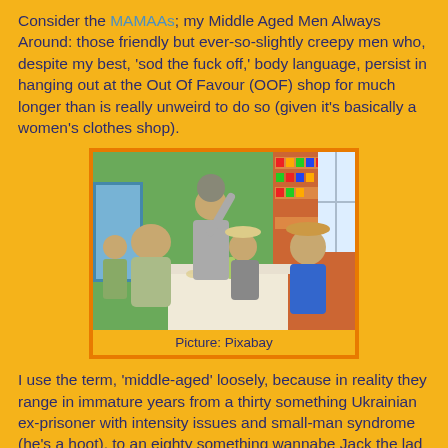Consider the MAMAAs; my Middle Aged Men Always Around: those friendly but ever-so-slightly creepy men who, despite my best, 'sod the fuck off,' body language, persist in hanging out at the Out Of Favour (OOF) shop for much longer than is really unweird to do so (given it's basically a women's clothes shop).
[Figure (photo): Group of middle-aged to elderly men sitting and standing around a table in what appears to be a small shop or bar, several wearing hats, with drinks on the table and shelves of goods visible in the background.]
Picture: Pixabay
I use the term, 'middle-aged' loosely, because in reality they range in immature years from a thirty something Ukrainian ex-prisoner with intensity issues and small-man syndrome (he's a hoot), to an eighty something wannabe Jack the lad